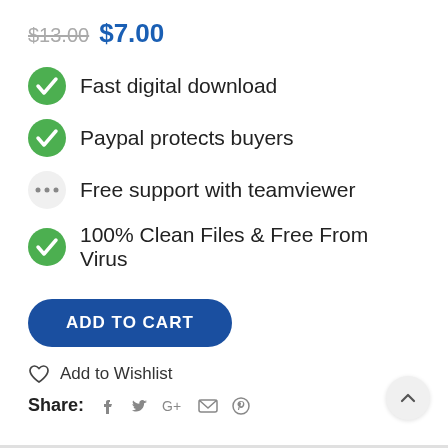$13.00 $7.00
Fast digital download
Paypal protects buyers
Free support with teamviewer
100% Clean Files & Free From Virus
ADD TO CART
Add to Wishlist
Share: